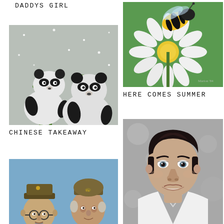DADDYS GIRL
[Figure (illustration): Two giant pandas sitting in snow among green bamboo shoots]
CHINESE TAKEAWAY
[Figure (illustration): A bumblebee on a white daisy flower with green background]
HERE COMES SUMMER
[Figure (illustration): Two Dad's Army characters in WWII Home Guard uniforms, portraits]
WALMINGTON ON SEAS FINEST
[Figure (illustration): Portrait of Elvis Presley, young, smiling, in white shirt against grey background]